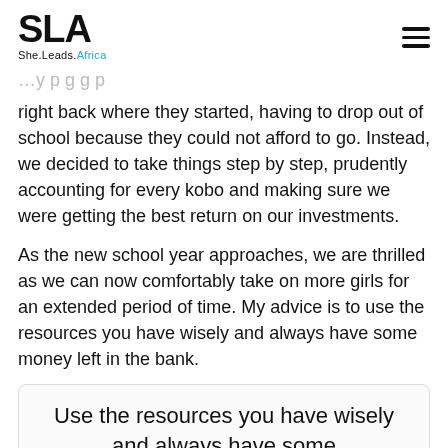SLA She.Leads.Africa
right back where they started, having to drop out of school because they could not afford to go. Instead, we decided to take things step by step, prudently accounting for every kobo and making sure we were getting the best return on our investments.
As the new school year approaches, we are thrilled as we can now comfortably take on more girls for an extended period of time. My advice is to use the resources you have wisely and always have some money left in the bank.
Use the resources you have wisely and always have some